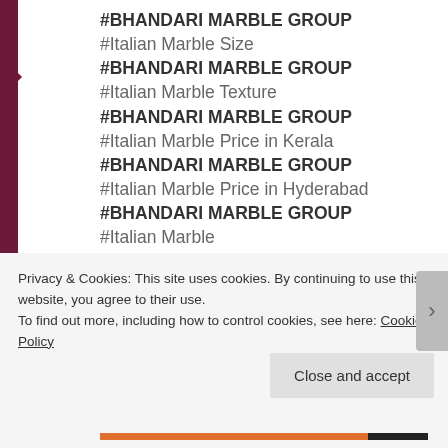#BHANDARI MARBLE GROUP
#Italian Marble Size
#BHANDARI MARBLE GROUP
#Italian Marble Texture
#BHANDARI MARBLE GROUP
#Italian Marble Price in Kerala
#BHANDARI MARBLE GROUP
#Italian Marble Price in Hyderabad
#BHANDARI MARBLE GROUP
#Italian Marble
#BHANDARI MARBLE GROUP
#Italian Marble vs Indian Marble
#BHANDARI MARBLE GROUP
Explore the complete range of Indian marble, imported
Privacy & Cookies: This site uses cookies. By continuing to use this website, you agree to their use.
To find out more, including how to control cookies, see here: Cookie Policy